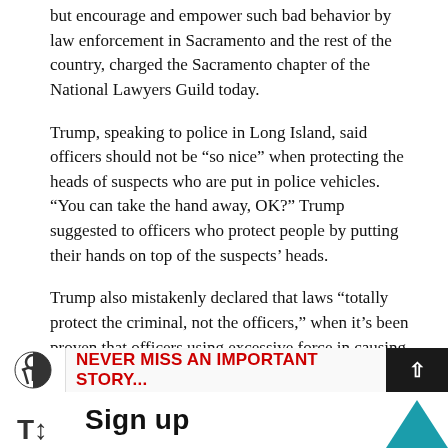but encourage and empower such bad behavior by law enforcement in Sacramento and the rest of the country, charged the Sacramento chapter of the National Lawyers Guild today.
Trump, speaking to police in Long Island, said officers should not be “so nice” when protecting the heads of suspects who are put in police vehicles. “You can take the hand away, OK?” Trump suggested to officers who protect people by putting their hands on top of the suspects’ heads.
Trump also mistakenly declared that laws “totally protect the criminal, not the officers,” when it’s been proven that officers using excessive force in causing suspects’ deaths are virtually immune from prosecution, as has been highlighted over recent years involving the shooting deaths of people of color across the United States.
“Our legal observer teams have reported and documented use of excessive force, intimidation and overreaction by the Sacramento Police Department., Sacramento County Sheriff’s Department and the
NEVER MISS AN IMPORTANT STORY...
Sign up